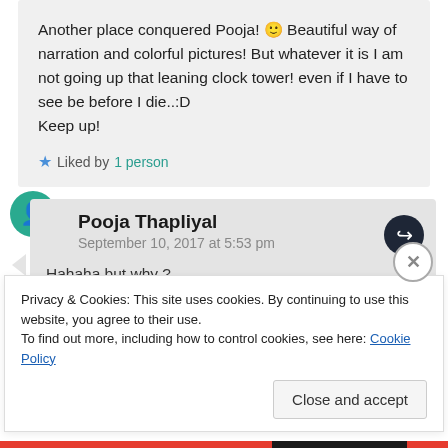Another place conquered Pooja! 🙂 Beautiful way of narration and colorful pictures! But whatever it is I am not going up that leaning clock tower! even if I have to see be before I die..:D
Keep up!
★ Liked by 1 person
Pooja Thapliyal
September 10, 2017 at 5:53 pm
Hahaha but why ?
Privacy & Cookies: This site uses cookies. By continuing to use this website, you agree to their use.
To find out more, including how to control cookies, see here: Cookie Policy
Close and accept